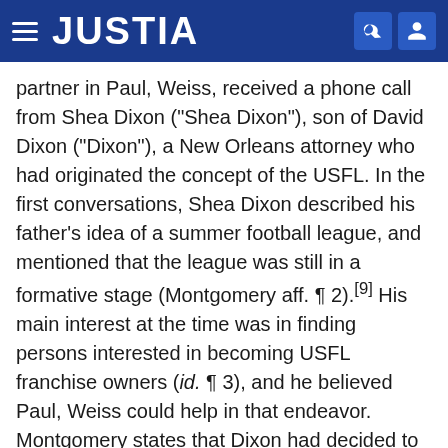JUSTIA
partner in Paul, Weiss, received a phone call from Shea Dixon ("Shea Dixon"), son of David Dixon ("Dixon"), a New Orleans attorney who had originated the concept of the USFL. In the first conversations, Shea Dixon described his father's idea of a summer football league, and mentioned that the league was still in a formative stage (Montgomery aff. ¶ 2).[9] His main interest at the time was in finding persons interested in becoming USFL franchise owners (id. ¶ 3), and he believed Paul, Weiss could help in that endeavor. Montgomery states that Dixon had decided to come to him because of his position as chairman of the Entertainment and Sports Law committee of the New York City Bar Association (id.).
Among Paul, Weiss's clients at the time was NFL Commissioner Rozelle.[10] Troubled by the possibility of an ethical problem if Paul, Weiss were to take on another football league as a client, Montgomery